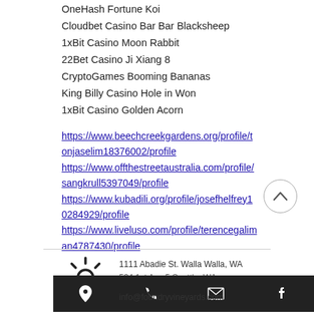OneHash Fortune Koi
Cloudbet Casino Bar Bar Blacksheep
1xBit Casino Moon Rabbit
22Bet Casino Ji Xiang 8
CryptoGames Booming Bananas
King Billy Casino Hole in Won
1xBit Casino Golden Acorn
https://www.beechcreekgardens.org/profile/tonjaselim18376002/profile
https://www.offthestreetaustralia.com/profile/sangkrull5397049/profile
https://www.kubadili.org/profile/josefhelfrey10284929/profile
https://www.liveluso.com/profile/terencegaliman4787430/profile
1111 Abadie St. Walla Walla, WA
info@foundryvineyards.com